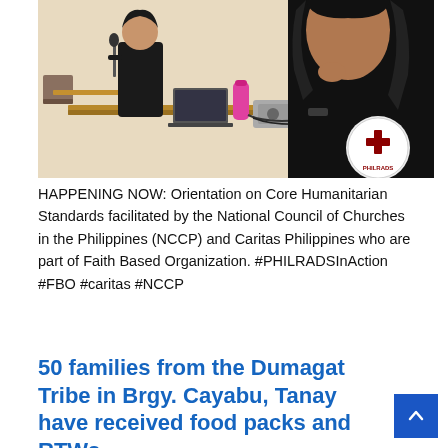[Figure (photo): A photo of two women in dark uniforms in what appears to be a meeting room. One holds a microphone and stands near a table with a laptop and a pink water bottle. A projector is on the table. A PHILRADS logo (red cross with PHILRADS text) is visible in the bottom right corner of the image.]
HAPPENING NOW: Orientation on Core Humanitarian Standards facilitated by the National Council of Churches in the Philippines (NCCP) and Caritas Philippines who are part of Faith Based Organization. #PHILRADSInAction #FBO #caritas #NCCP
50 families from the Dumagat Tribe in Brgy. Cayabu, Tanay have received food packs and RTWs